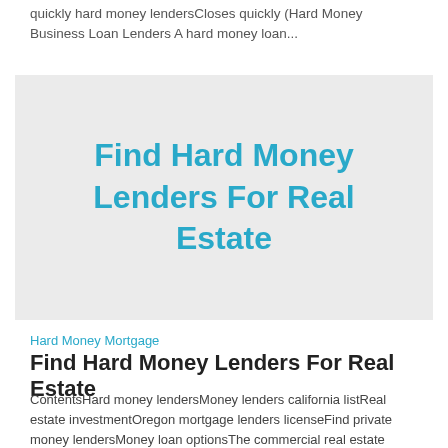quickly hard money lendersCloses quickly (Hard Money Business Loan Lenders A hard money loan...
[Figure (other): Gray placeholder image block with centered heading text 'Find Hard Money Lenders For Real Estate' in cyan/teal color]
Hard Money Mortgage
Find Hard Money Lenders For Real Estate
ContentsHard money lendersMoney lenders california listReal estate investmentOregon mortgage lenders licenseFind private money lendersMoney loan optionsThe commercial real estate industry continues...